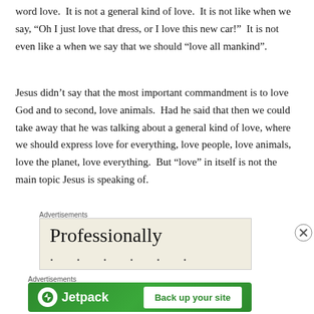word love.  It is not a general kind of love.  It is not like when we say, “Oh I just love that dress, or I love this new car!”  It is not even like a when we say that we should “love all mankind”.
Jesus didn’t say that the most important commandment is to love God and to second, love animals.  Had he said that then we could take away that he was talking about a general kind of love, where we should express love for everything, love people, love animals, love the planet, love everything.  But “love” in itself is not the main topic Jesus is speaking of.
Advertisements
[Figure (screenshot): Advertisement banner with cream background showing the word 'Professionally' in large serif font with dots below suggesting more text]
Advertisements
[Figure (screenshot): Jetpack advertisement banner with green gradient background, Jetpack logo on left and 'Back up your site' button on right]